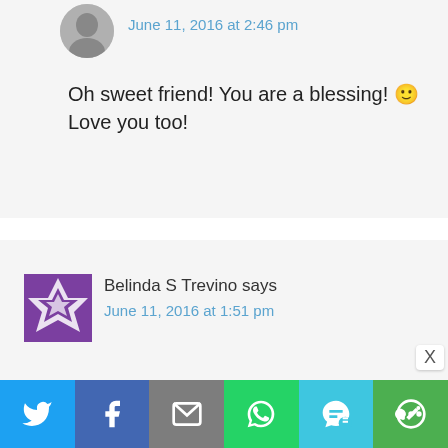June 11, 2016 at 2:46 pm
Oh sweet friend! You are a blessing! 🙂 Love you too!
Belinda S Trevino says
June 11, 2016 at 1:51 pm
How exciting and what a true blessing from God you two are...angels among us! I am SO
[Figure (infographic): Social share bar with Twitter, Facebook, Email, WhatsApp, SMS, and More buttons]